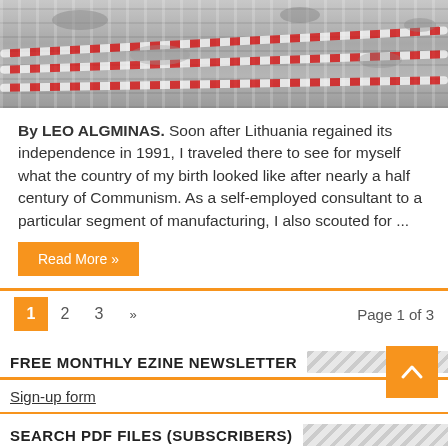[Figure (photo): Black and white photo of people swimming in a pool with lane dividers]
By LEO ALGMINAS. Soon after Lithuania regained its independence in 1991, I traveled there to see for myself what the country of my birth looked like after nearly a half century of Communism. As a self-employed consultant to a particular segment of manufacturing, I also scouted for ...
Read More »
1  2  3  »  Page 1 of 3
FREE MONTHLY EZINE NEWSLETTER
Sign-up form
SEARCH PDF FILES (SUBSCRIBERS)